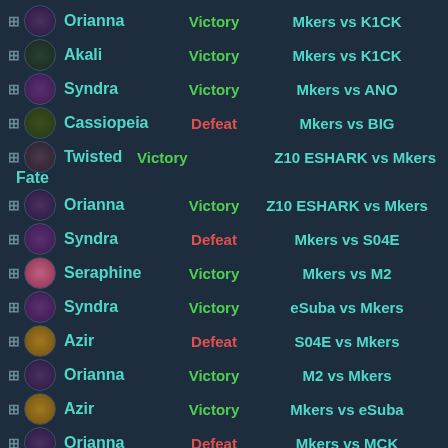Orianna | Victory | Mkers vs K1CK
Akali | Victory | Mkers vs K1CK
Syndra | Victory | Mkers vs ANO
Cassiopeia | Defeat | Mkers vs BIG
Twisted Fate | Victory | Z10 ESHARK vs Mkers
Orianna | Victory | Z10 ESHARK vs Mkers
Syndra | Defeat | Mkers vs S04E
Seraphine | Victory | Mkers vs M2
Syndra | Victory | eSuba vs Mkers
Azir | Defeat | S04E vs Mkers
Orianna | Victory | M2 vs Mkers
Azir | Victory | Mkers vs eSuba
Orianna | Defeat | Mkers vs MCK